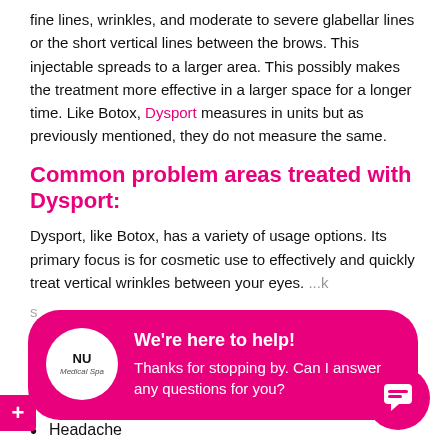fine lines, wrinkles, and moderate to severe glabellar lines or the short vertical lines between the brows. This injectable spreads to a larger area. This possibly makes the treatment more effective in a larger space for a longer time. Like Botox, Dysport measures in units but as previously mentioned, they do not measure the same.
Common problem areas treated with Dysport:
Dysport, like Botox, has a variety of usage options. Its primary focus is for cosmetic use to effectively and quickly treat vertical wrinkles between your eyes.
[Figure (screenshot): Chat widget popup from NU Medical Spa saying 'We're here to help! Thanks for stopping by. Can I answer any questions for you?']
injection site
Headache
Muscle pain or stiffness